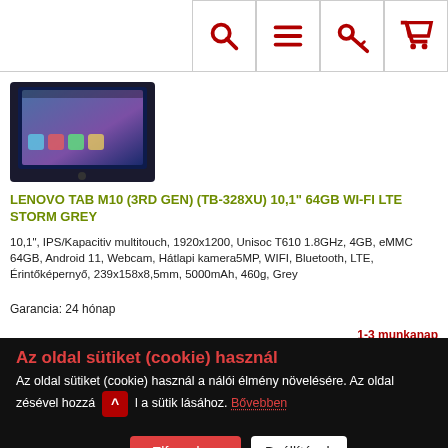[Figure (screenshot): Lenovo Tab M10 tablet product image thumbnail]
LENOVO TAB M10 (3RD GEN) (TB-328XU) 10,1" 64GB WI-FI LTE STORM GREY
10,1", IPS/Kapacitiv multitouch, 1920x1200, Unisoc T610 1.8GHz, 4GB, eMMC 64GB, Android 11, Webcam, Hátlapi kamera5MP, WIFI, Bluetooth, LTE, Érintőképernyő, 239x158x8,5mm, 5000mAh, 460g, Grey
Garancia: 24 hónap
1-3 munkanap
Az oldal sütiket (cookie) használ
Az oldal sütiket (cookie) használ a nálói élmény növelésére. Az oldal zésével hozzá a sütik lásához. Bővebben
Elfogadom
Beállítások
[Figure (photo): Realme tablet product image thumbnail (partially hidden behind cookie overlay)]
RE...
10,... 640... bővíthető, USB, WIFI, Bluetooth, GPS, G-sensor, Glonass, 246x155x6mm, 7100mAh, 440g, Grey
Garancia: 12 hónap